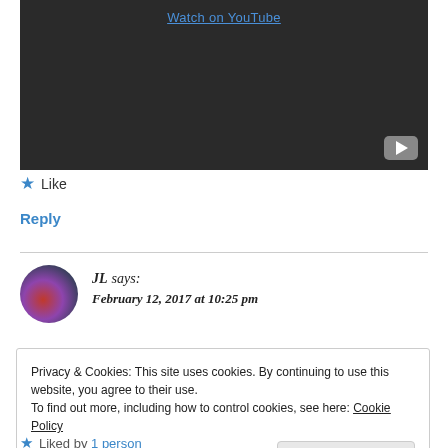[Figure (screenshot): YouTube video thumbnail with dark background showing 'Watch on YouTube' link and YouTube play button icon in bottom right corner]
Like
Reply
JL says:
February 12, 2017 at 10:25 pm
Privacy & Cookies: This site uses cookies. By continuing to use this website, you agree to their use. To find out more, including how to control cookies, see here: Cookie Policy
Close and accept
Liked by 1 person